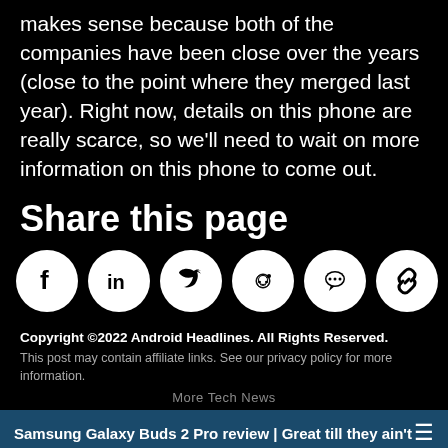makes sense because both of the companies have been close over the years (close to the point where they merged last year). Right now, details on this phone are really scarce, so we'll need to wait on more information on this phone to come out.
Share this page
[Figure (other): Row of social media share icons: Facebook, LinkedIn, Twitter, Reddit, chat/message, and link/copy icon — all white circles on black background]
Copyright ©2022 Android Headlines. All Rights Reserved.
This post may contain affiliate links. See our privacy policy for more information.
More Tech News
Samsung Galaxy Buds 2 Pro review | Great till they ain't